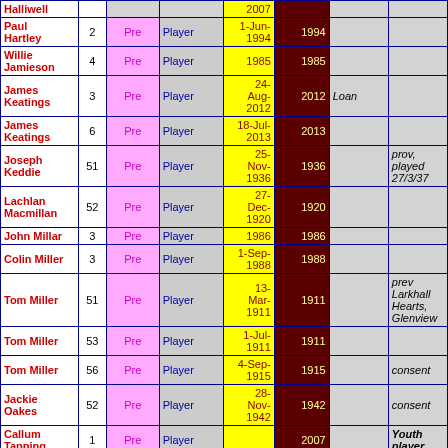| Name | # | Type | Role | Date | Year | Note1 | Note2 |
| --- | --- | --- | --- | --- | --- | --- | --- |
| Halliwell |  |  |  | 2007 |  |  |  |
| Paul Hartley | 2 | Pre | Player | 1-Jun-1994 | 1994 |  |  |
| Willie Jamieson | 4 | Pre | Player | 1985 | 1985 |  |  |
| James Keatings | 3 | Pre | Player | 24-Aug-2012 | 2012 | Loan |  |
| James Keatings | 6 | Pre | Player | 18-Jul-2013 | 2013 |  |  |
| Joseph Keddie | 51 | Pre | Player | 25-Nov-1936 | 1936 |  | prov, played 27/3/37 |
| Lachlan Macmillan | 52 | Pre | Player | 27-Dec-1920 | 1920 |  |  |
| John Millar | 3 | Pre | Player | 1986 | 1986 |  |  |
| Colin Miller | 3 | Pre | Player | 1-Sep-1988 | 1988 |  |  |
| Tom Miller | 51 | Pre | Player | 13-Mar-1911 | 1911 |  | prev Larkhall Hearts, Glenview |
| Tom Miller | 53 | Pre | Player | 1-Jul-1911 | 1911 |  |  |
| Tom Miller | 56 | Pre | Player | 4-Sep-1915 | 1915 |  | consent |
| Jackie Oakes | 52 | Pre | Player | 28-Nov-1942 | 1942 |  | consent |
| Callum Tapping | 1 | Pre | Player |  | 2007 |  | Youth player |
| Ian Crawford | 4 | Bought From | Player | 1-Oct-1953 | 1953 |  |  |
| Danny Ferguson | 2 | Bought From | Player | 1-Aug-1958 | 1958 |  |  |